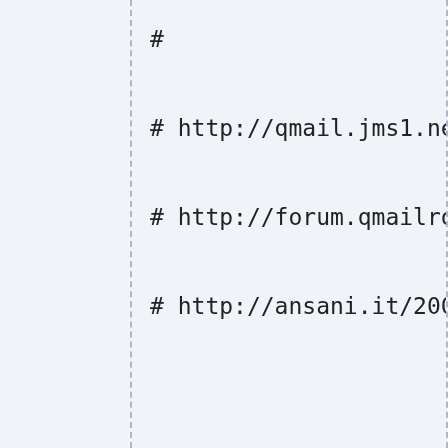#

# http://qmail.jms1.net/doveco

# http://forum.qmailrocks.org/

# http://ansani.it/2008/08/14/0



# Enable mail process debuggin

# isn't finding your mails.

mail_debug = no

verbose_proctitle = yes

first_valid_uid = 89

last_valid_uid = 89